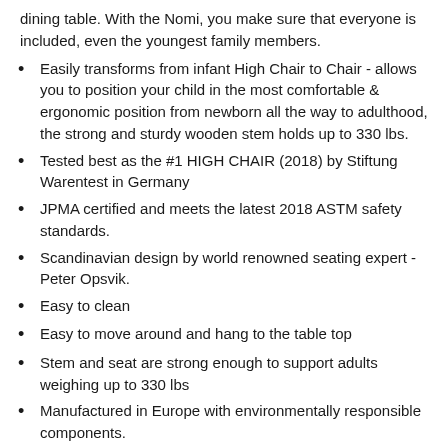dining table. With the Nomi, you make sure that everyone is included, even the youngest family members.
Easily transforms from infant High Chair to Chair - allows you to position your child in the most comfortable & ergonomic position from newborn all the way to adulthood, the strong and sturdy wooden stem holds up to 330 lbs.
Tested best as the #1 HIGH CHAIR (2018) by Stiftung Warentest in Germany
JPMA certified and meets the latest 2018 ASTM safety standards.
Scandinavian design by world renowned seating expert - Peter Opsvik.
Easy to clean
Easy to move around and hang to the table top
Stem and seat are strong enough to support adults weighing up to 330 lbs
Manufactured in Europe with environmentally responsible components.
Dimension: 33L x 22L x 23H inches
Item Weight: 4.8kg